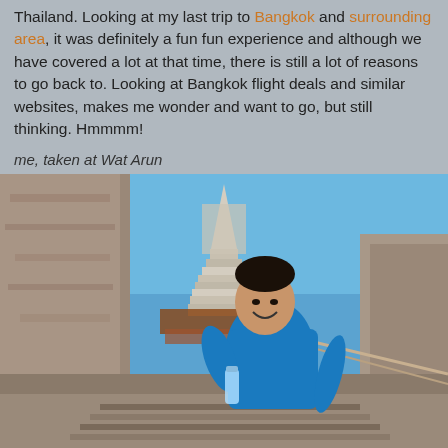Thailand. Looking at my last trip to Bangkok and surrounding area, it was definitely a fun fun experience and although we have covered a lot at that time, there is still a lot of reasons to go back to. Looking at Bangkok flight deals and similar websites, makes me wonder and want to go, but still thinking. Hmmmm!
me, taken at Wat Arun
[Figure (photo): Person in blue shirt smiling and holding a railing on steep steps at Wat Arun temple in Bangkok. The ornate temple spire is visible in the background against a blue sky. Stone walls and railings are prominent in the foreground.]